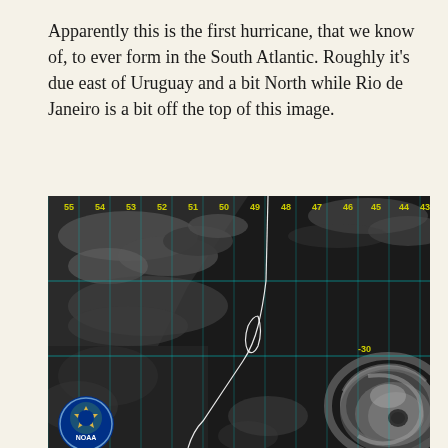Apparently this is the first hurricane, that we know of, to ever form in the South Atlantic. Roughly it's due east of Uruguay and a bit North while Rio de Janeiro is a bit off the top of this image.
[Figure (photo): NOAA satellite image (grayscale) showing a hurricane system in the South Atlantic Ocean. Cyan grid lines overlay the image with yellow longitude labels (55, 54, 53, 52, 51, 50, 49, 48, 47, 46, 45, 44, 43) along the top. A latitude label '-30' appears on the right side. A white coastline outline is visible. A tropical cyclone/hurricane is visible in the lower right. NOAA logo appears in the lower left corner.]